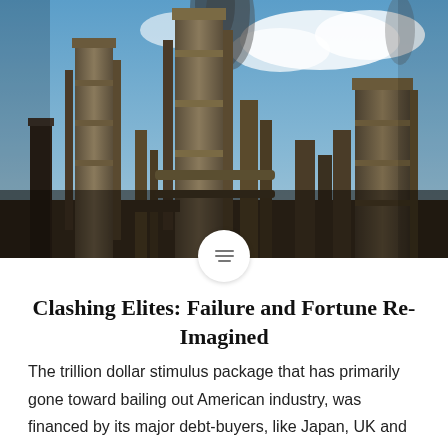[Figure (photo): Industrial refinery or chemical plant with tall metal towers/chimneys emitting dark smoke against a blue sky with clouds]
Clashing Elites: Failure and Fortune Re-Imagined
The trillion dollar stimulus package that has primarily gone toward bailing out American industry, was financed by its major debt-buyers, like Japan, UK and China. The US is once again selling debt through the Federal Reserve to to stabilize